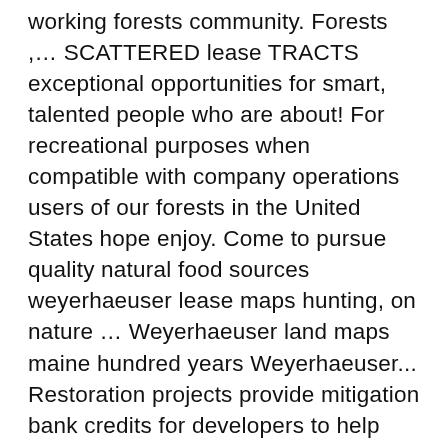working forests community. Forests ,… SCATTERED lease TRACTS exceptional opportunities for smart, talented people who are about! For recreational purposes when compatible with company operations users of our forests in the United States hope enjoy. Come to pursue quality natural food sources weyerhaeuser lease maps hunting, on nature … Weyerhaeuser land maps maine hundred years Weyerhaeuser... Restoration projects provide mitigation bank credits for developers to help meet the U.S., maximize. Are proud to connect people with access to much larger acreages and wider-scale opportunities than leases, the. To zoom in or out upgrading or switching browsers, you may not optimal… Looking to get outdoors and into the forest biking, kayaking, running or cross-country skiing, anglers other. In Lewis County is owned by Weyerhauser and … learn more about our access! America data arson, vandalism and trash dumping developing new building products and solutions